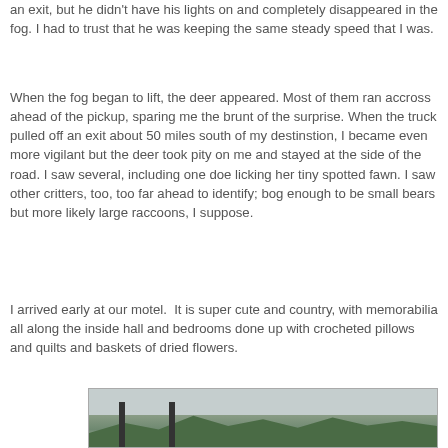an exit, but he didn't have his lights on and completely disappeared in the fog. I had to trust that he was keeping the same steady speed that I was.
When the fog began to lift, the deer appeared. Most of them ran accross ahead of the pickup, sparing me the brunt of the surprise. When the truck pulled off an exit about 50 miles south of my destinstion, I became even more vigilant but the deer took pity on me and stayed at the side of the road. I saw several, including one doe licking her tiny spotted fawn. I saw other critters, too, too far ahead to identify; bog enough to be small bears but more likely large raccoons, I suppose.
I arrived early at our motel.  It is super cute and country, with memorabilia all along the inside hall and bedrooms done up with crocheted pillows and quilts and baskets of dried flowers.
[Figure (photo): A partial outdoor photo showing lamp posts and trees, likely the motel exterior or surrounding area.]